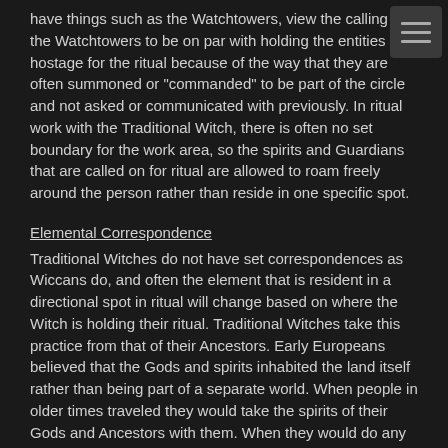have things such as the Watchtowers, view the calling of the Watchtowers to be on par with holding the entities hostage for the ritual because of the way that they are often summoned or "commanded" to be part of the circle and not asked or communicated with previously. In ritual work with the Traditional Witch, there is often no set boundary for the work area, so the spirits and Guardians that are called on for ritual are allowed to roam freely around the person rather than reside in one specific spot.
Elemental Correspondence
Traditional Witches do not have set correspondences as Wiccans do, and often the element that is resident in a directional spot in ritual will change based on where the Witch is holding their ritual. Traditional Witches take this practice from that of their Ancestors. Early Europeans believed that the Gods and spirits inhabited the land itself rather than being part of a separate world. When people in older times traveled they would take the spirits of their Gods and Ancestors with them. When they would do any sort of magickal work or pray to their Gods they would align themselves according the relation of where they were to their Homeland or Homeland of their Gods since this is where they felt that they truly resided. In order to do this, the Witch would look upon the North Star, the traveler's star, and use